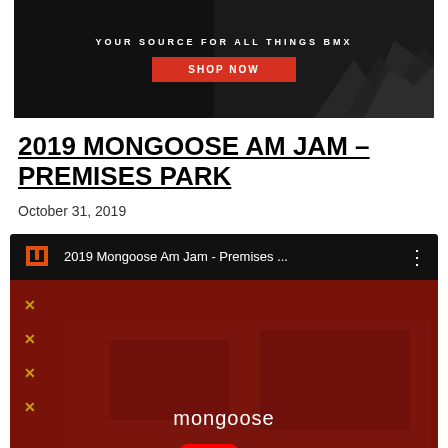[Figure (screenshot): Black banner advertisement with text 'YOUR SOURCE FOR ALL THINGS BMX' and a red 'SHOP NOW' button, with rocky terrain image on the right]
2019 MONGOOSE AM JAM – PREMISES PARK
October 31, 2019
[Figure (screenshot): YouTube video embed showing '2019 Mongoose Am Jam - Premises ...' with Mongoose logo in black top bar, and red thumbnail with 'mongoose' text, yellow 'AM JAM' letters with YouTube play button in the center, and X marks on the left side]